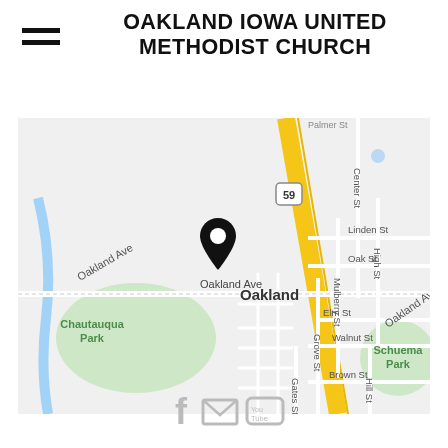OAKLAND IOWA UNITED METHODIST CHURCH
[Figure (map): Google Maps screenshot showing Oakland, Iowa with a location pin marking the United Methodist Church. The map shows streets including Oakland Ave, Linden St, Oak St, Elm St, Walnut St, Brown St, Grove St, Hill St, Mulberry St, High St, Center St, and landmarks Chautauqua Park and Schuema Park. A yellow highway (route 59) runs through the center.]
[Figure (infographic): Social media icons: Facebook (f), Email (envelope), YouTube icons in gray]